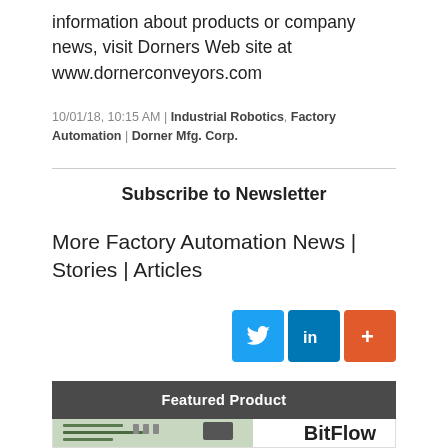information about products or company news, visit Dorners Web site at www.dornerconveyors.com
10/01/18, 10:15 AM | Industrial Robotics, Factory Automation | Dorner Mfg. Corp.
Subscribe to Newsletter
More Factory Automation News | Stories | Articles
[Figure (infographic): Social media share buttons: Twitter (blue bird icon), LinkedIn (in logo), and a red plus/add button]
Featured Product
BitFlow
[Figure (photo): Photo of a BitFlow circuit board / frame grabber card]